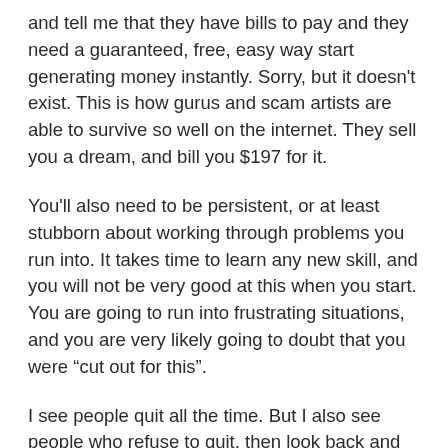and tell me that they have bills to pay and they need a guaranteed, free, easy way start generating money instantly. Sorry, but it doesn't exist. This is how gurus and scam artists are able to survive so well on the internet. They sell you a dream, and bill you $197 for it.
You'll also need to be persistent, or at least stubborn about working through problems you run into. It takes time to learn any new skill, and you will not be very good at this when you start. You are going to run into frustrating situations, and you are very likely going to doubt that you were "cut out for this".
I see people quit all the time. But I also see people who refuse to quit, then look back and laugh at the silly mistakes they were making before.